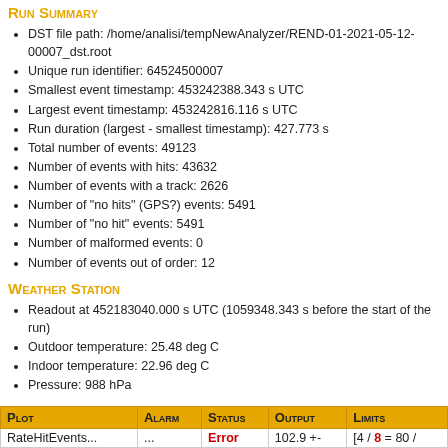Run Summary
DST file path: /home/analisi/tempNewAnalyzer/REND-01-2021-05-12-00007_dst.root
Unique run identifier: 64524500007
Smallest event timestamp: 453242388.343 s UTC
Largest event timestamp: 453242816.116 s UTC
Run duration (largest - smallest timestamp): 427.773 s
Total number of events: 49123
Number of events with hits: 43632
Number of events with a track: 2626
Number of "no hits" (GPS?) events: 5491
Number of "no hit" events: 5491
Number of malformed events: 0
Number of events out of order: 12
Weather Station
Readout at 452183040.000 s UTC (1059348.343 s before the start of the run)
Outdoor temperature: 25.48 deg C
Indoor temperature: 22.96 deg C
Pressure: 988 hPa
Alarm Summary
| Plot | Alarm | Status | Output | Limits |
| --- | --- | --- | --- | --- |
| RateHitEvents... | ... | Error | 102.9 +- | [4 / 8 = 80 / |